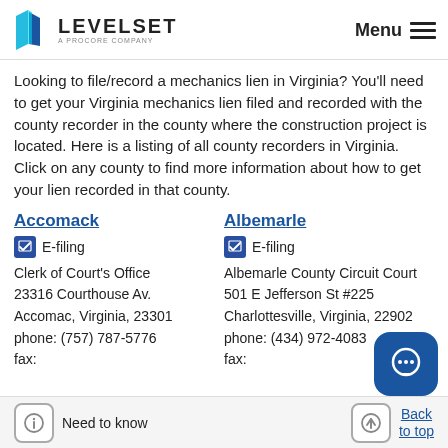Levelset — A Procore Company | Menu
Looking to file/record a mechanics lien in Virginia? You'll need to get your Virginia mechanics lien filed and recorded with the county recorder in the county where the construction project is located. Here is a listing of all county recorders in Virginia. Click on any county to find more information about how to get your lien recorded in that county.
Accomack
E-filing
Clerk of Court's Office
23316 Courthouse Av.
Accomac, Virginia, 23301
phone: (757) 787-5776
fax:
Albemarle
E-filing
Albemarle County Circuit Court
501 E Jefferson St #225
Charlottesville, Virginia, 22902
phone: (434) 972-4083
fax:
Need to know | Back to top